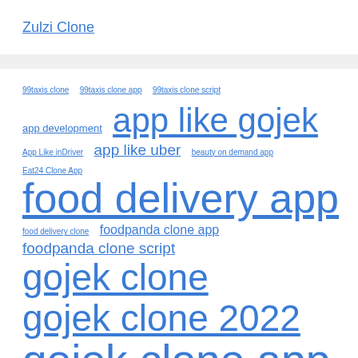Zulzi Clone
99taxis clone
99taxis clone app
99taxis clone script
app development
app like gojek
App Like inDriver
app like uber
beauty on demand app
Eat24 Clone App
food delivery app
food delivery clone
foodpanda clone app
foodpanda clone script
gojek clone
gojek clone 2022
gojek clone app
gojek clone script